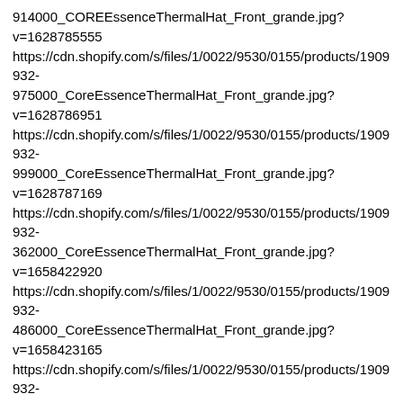914000_COREEssenceThermalHat_Front_grande.jpg?v=1628785555 https://cdn.shopify.com/s/files/1/0022/9530/0155/products/1909932-975000_CoreEssenceThermalHat_Front_grande.jpg?v=1628786951 https://cdn.shopify.com/s/files/1/0022/9530/0155/products/1909932-999000_CoreEssenceThermalHat_Front_grande.jpg?v=1628787169 https://cdn.shopify.com/s/files/1/0022/9530/0155/products/1909932-362000_CoreEssenceThermalHat_Front_grande.jpg?v=1658422920 https://cdn.shopify.com/s/files/1/0022/9530/0155/products/1909932-486000_CoreEssenceThermalHat_Front_grande.jpg?v=1658423165 https://cdn.shopify.com/s/files/1/0022/9530/0155/products/1909932-678000_CoreEssenceThermalHat_Front_grande.jpg?v=1658423227 https://cdn.shopify.com/s/files/1/0022/9530/0155/products/Accessori ddb0-4ea7-9f4b-c40e6ca5af58_grande.jpg?v=1658417299 Craft Sportswear NA new 4541961142390in stockApparel & Accessories > Clothing > ActivewearHats/Accessories 24.99USD 31914126114934CORE ESSENCE THERMAL HAT Lightweight training hat made of recycled brushed thermal jersey for optimal warmth and comfort.• Recycled polyester • Eco-friendly • Excellent moistuhttps://www.craftsports.us/products/core-essence-